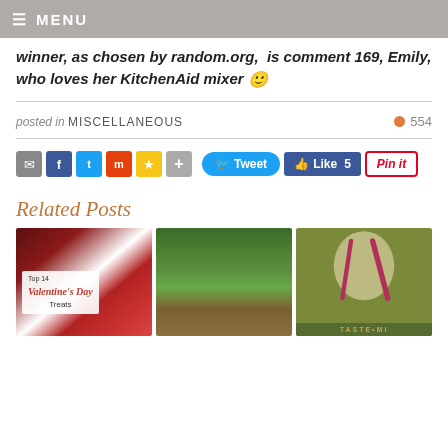≡ MENU
winner, as chosen by random.org,  is comment 169, Emily, who loves her KitchenAid mixer 🙂
posted in MISCELLANEOUS  •  554
[Figure (screenshot): Social sharing buttons: email, Facebook, Twitter, Mix, star, plus; Tweet button, Like 5 button, Pin It button]
Related Posts
[Figure (photo): Top 14 Valentine's Day Treats - cupcakes and heart cookies photo]
[Figure (photo): Green salad in a brown bowl photo]
[Figure (photo): Taste of Michigan poster - olive green with state silhouette and fork/spoon graphic]